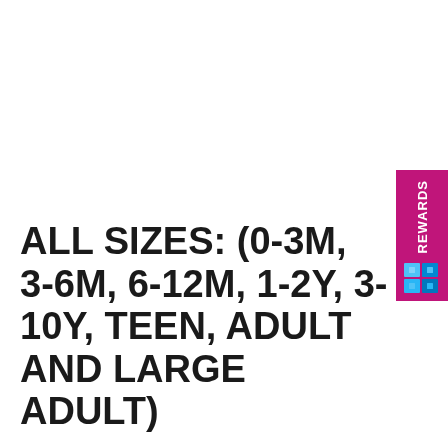[Figure (other): Magenta/pink rewards tab on right side with 'REWARDS' text and a small icon]
ALL SIZES: (0-3M, 3-6M, 6-12M, 1-2Y, 3-10Y, TEEN, ADULT AND LARGE ADULT)
You Need Your K Hook and Yarn Color of Your Choice.
Make a Magic Ring,
Round 1: Ch 1, 7 sc in loop, join with a sl st in the 1st sc, pull tight. - 7